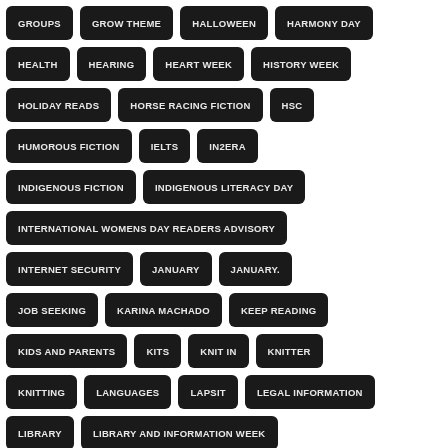GROUPS
GROW THEME
HALLOWEEN
HARMONY DAY
HEALTH
HEARING
HEART WEEK
HISTORY WEEK
HOLIDAY READS
HORSE RACING FICTION
HSC
HUMOROUS FICTION
IELTS
IN2ERA
INDIGENOUS FICTION
INDIGENOUS LITERACY DAY
INTERNATIONAL WOMENS DAY READERS ADVISORY
INTERNET SECURITY
JANUARY
JANUARY.
JOB SEEKING
KARINA MACHADO
KEEP READING
KIDS AND PARENTS
KITS
KNIT IN
KNITTER
KNITTING
LANGUAGES
LAPSIT
LEGAL INFORMATION
LIBRARY
LIBRARY AND INFORMATION WEEK